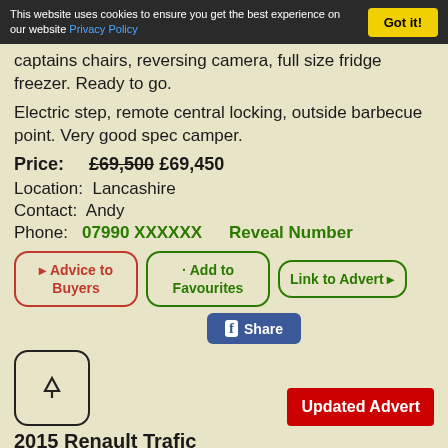This website uses cookies to ensure you get the best experience on our website Privacy Policy
captains chairs, reversing camera, full size fridge freezer. Ready to go.
Electric step, remote central locking, outside barbecue point. Very good spec camper.
Price: £69,500 £69,450
Location: Lancashire
Contact: Andy
Phone: 07990 XXXXXX   Reveal Number
Advice to Buyers | Add to Favourites | Link to Advert
Share
Updated Advert
2015 Renault Trafic